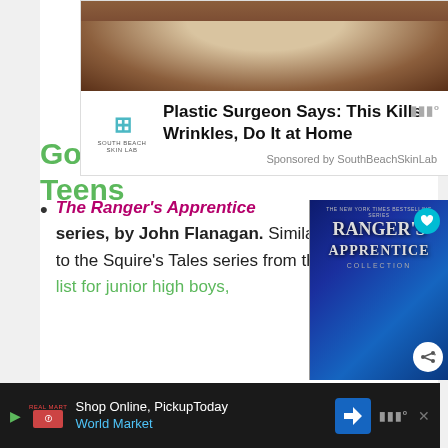[Figure (screenshot): Advertisement: South Beach Skin Lab ad with image of face covered in oatmeal/mask product, logo, headline 'Plastic Surgeon Says: This Kills Wrinkles, Do It at Home', sponsored by SouthBeachSkinLab]
Good Clean Books for Teens
The Ranger's Apprentice series, by John Flanagan. Similar to the Squire's Tales series from the list for junior high boys,
[Figure (photo): Book cover of Ranger's Apprentice Collection - blue cover with medieval weapon, heart button and share button overlaid]
[Figure (screenshot): Bottom advertisement: Shop Online, Pickup Today - World Market, with navigation icon, moat logo]